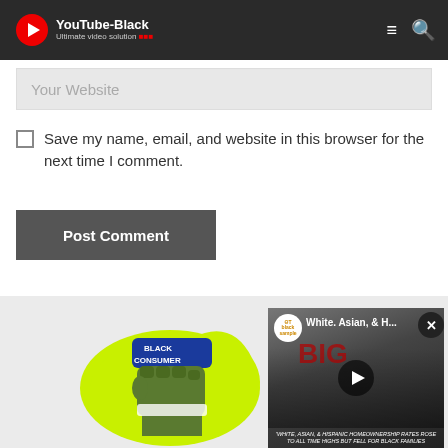YouTube-Black — Ultimate video solution
Your Website
Save my name, email, and website in this browser for the next time I comment.
Post Comment
[Figure (illustration): Illustration of a fist with 'BLACK CONSUMER' text on a yellow-green splash background]
[Figure (screenshot): Video thumbnail showing 'White, Asian, & H...' title with channel logo and play button, caption about homeownership rates]